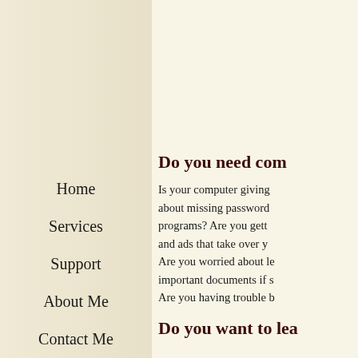Home
Services
Support
About Me
Contact Me
Do you need com
Is your computer giving about missing password programs? Are you gett and ads that take over y Are you worried about le important documents if s Are you having trouble b
Do you want to lea